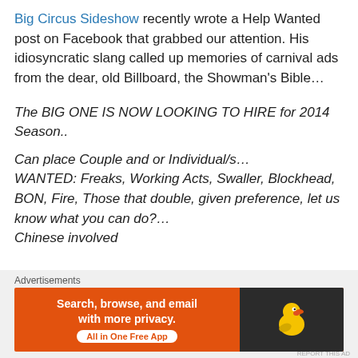Big Circus Sideshow recently wrote a Help Wanted post on Facebook that grabbed our attention. His idiosyncratic slang called up memories of carnival ads from the dear, old Billboard, the Showman's Bible…
The BIG ONE IS NOW LOOKING TO HIRE for 2014 Season..
Can place Couple and or Individual/s…
WANTED: Freaks, Working Acts, Swaller, Blockhead, BON, Fire, Those that double, given preference, let us know what you can do?…
Chinese involved
We Pay REAL Money, and you must deliver the goods...
[Figure (screenshot): DuckDuckGo advertisement banner: orange background with text 'Search, browse, and email with more privacy. All in One Free App' and DuckDuckGo duck logo on dark background]
Advertisements